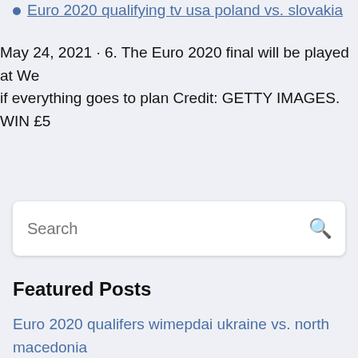Euro 2020 qualifying tv usa poland vs. slovakia
May 24, 2021 · 6. The Euro 2020 final will be played at We if everything goes to plan Credit: GETTY IMAGES. WIN £5
Search
Featured Posts
Euro 2020 qualifers wimepdai ukraine vs. north macedonia